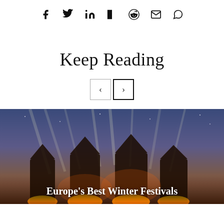[Figure (other): Social media share icons: Facebook, Twitter, LinkedIn, Flipboard, Reddit, Email, WhatsApp]
Keep Reading
[Figure (other): Navigation previous and next arrow buttons]
[Figure (photo): Night festival scene with illuminated gothic/ornate structures and light beams in the sky]
Europe's Best Winter Festivals